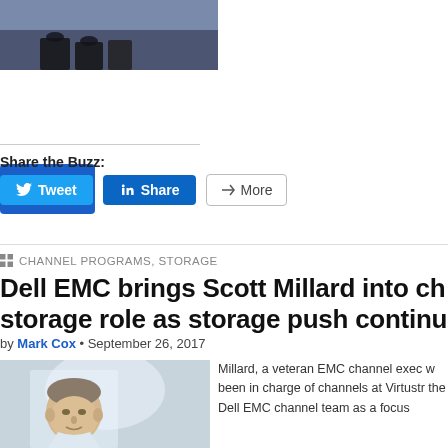[Figure (photo): Cropped top portion of a person on stage at a conference, only lower body/feet visible]
Read more →
Share the Buzz:
Tweet  Share  More
CHANNEL PROGRAMS, STORAGE
Dell EMC brings Scott Millard into ch storage role as storage push continu
by Mark Cox • September 26, 2017
[Figure (photo): Headshot photo of Scott Millard, bald/shaved head man in business attire]
Millard, a veteran EMC channel exec w been in charge of channels at Virtustr the Dell EMC channel team as a focus